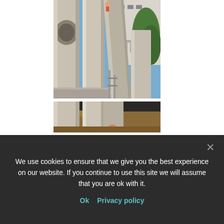[Figure (photo): Close-up photograph of large white cylindrical water slide tubes at an outdoor water park. Blue sky and green trees visible in background, with a building structure. A person is visible at the top of the slide.]
[Figure (photo): Second photograph showing the base/lower section of the same white cylindrical water slide tubes with dry landscape vegetation visible at the bottom.]
We use cookies to ensure that we give you the best experience on our website. If you continue to use this site we will assume that you are ok with it.
Ok   Privacy policy